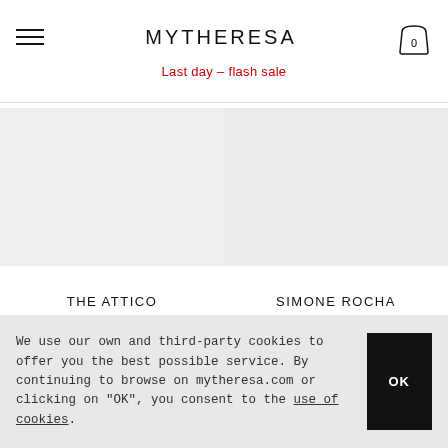MYTHERESA
Last day – flash sale
[Figure (photo): Product image placeholder for THE ATTICO]
THE ATTICO
HK$ 7,020
[Figure (photo): Product image placeholder for SIMONE ROCHA]
SIMONE ROCHA
HK$ 6,130
NEW ARRIVAL
EXCLUSIVE
We use our own and third-party cookies to offer you the best possible service. By continuing to browse on mytheresa.com or clicking on "OK", you consent to the use of cookies.